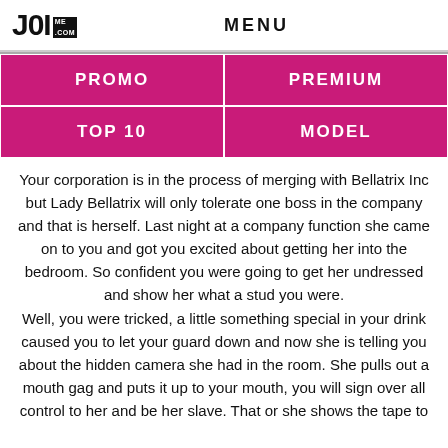MENU
| PROMO | PREMIUM |
| --- | --- |
| TOP 10 | MODEL |
Your corporation is in the process of merging with Bellatrix Inc but Lady Bellatrix will only tolerate one boss in the company and that is herself. Last night at a company function she came on to you and got you excited about getting her into the bedroom. So confident you were going to get her undressed and show her what a stud you were.
Well, you were tricked, a little something special in your drink caused you to let your guard down and now she is telling you about the hidden camera she had in the room. She pulls out a mouth gag and puts it up to your mouth, you will sign over all control to her and be her slave. That or she shows the tape to